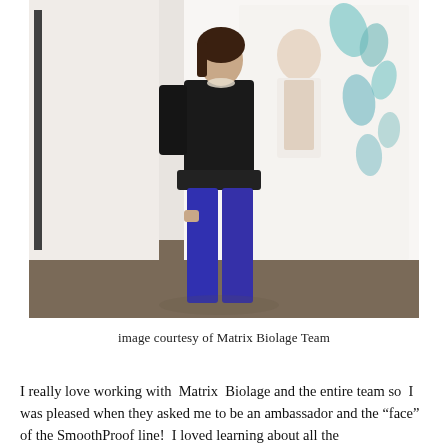[Figure (photo): A woman in a black jacket and bright blue pants stands posing next to a large poster/banner featuring a model. The banner has teal floral designs on a white background.]
image courtesy of Matrix Biolage Team
I really love working with  Matrix  Biolage and the entire team so  I was pleased when they asked me to be an ambassador and the “face” of the SmoothProof line!  I loved learning about all the